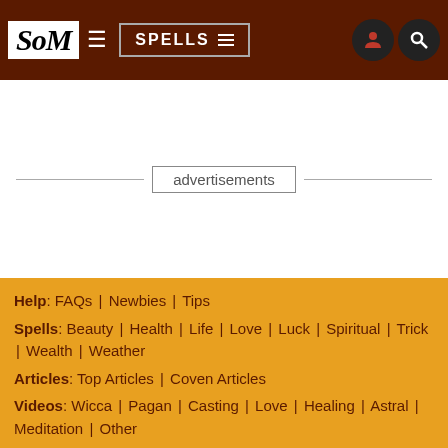SoM | SPELLS
advertisements
Help: FAQs | Newbies | Tips
Spells: Beauty | Health | Life | Love | Luck | Spiritual | Trick | Wealth | Weather
Articles: Top Articles | Coven Articles
Videos: Wicca | Pagan | Casting | Love | Healing | Astral | Meditation | Other
Fortunes: Mora | Tarot | Runes | Numerology | Horoscopes | Dreams
Forums: Public | Coven